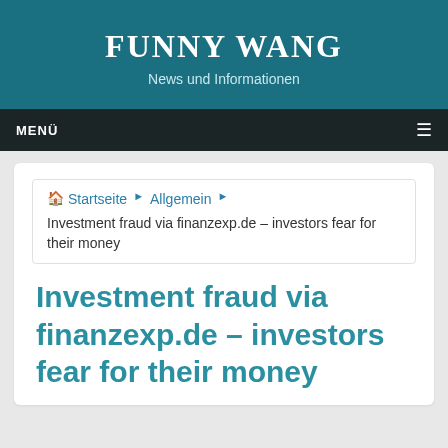FUNNY WANG
News und Informationen
MENÜ
Startseite ▶ Allgemein ▶ Investment fraud via finanzexp.de – investors fear for their money
Investment fraud via finanzexp.de – investors fear for their money